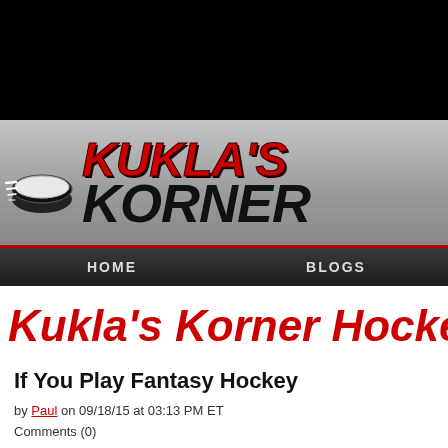[Figure (logo): Kukla's Korner hockey website logo with hockey puck graphic and stylized red and black text]
HOME    BLOGS
Kukla's Korner Hocke
If You Play Fantasy Hockey
by Paul on 09/18/15 at 03:13 PM ET
Comments (0)
by Scott Collins, 15%...